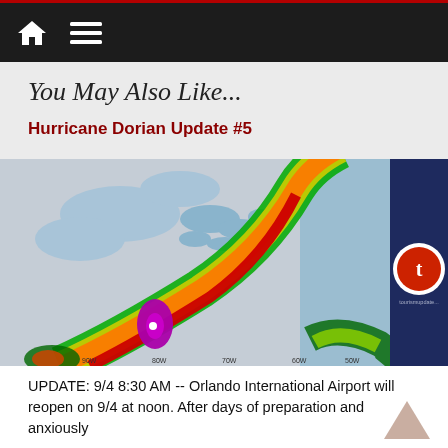Navigation bar with home icon and menu icon
You May Also Like...
Hurricane Dorian Update #5
[Figure (map): Weather radar/track map showing Hurricane Dorian's path along the US East Coast, with color-coded intensity bands (purple at core, red, orange, yellow, green) on a US map background, with a dark navy sidebar on the right showing a 't' logo for tourismupdate.]
UPDATE: 9/4 8:30 AM -- Orlando International Airport will reopen on 9/4 at noon.  After days of preparation and anxiously